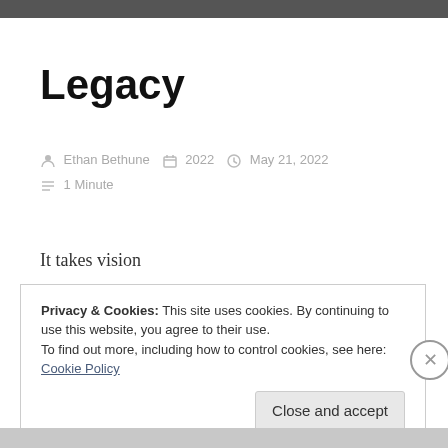Legacy
Ethan Bethune   2022   May 21, 2022   1 Minute
It takes vision
Only you can see it…
Privacy & Cookies: This site uses cookies. By continuing to use this website, you agree to their use. To find out more, including how to control cookies, see here: Cookie Policy
Close and accept